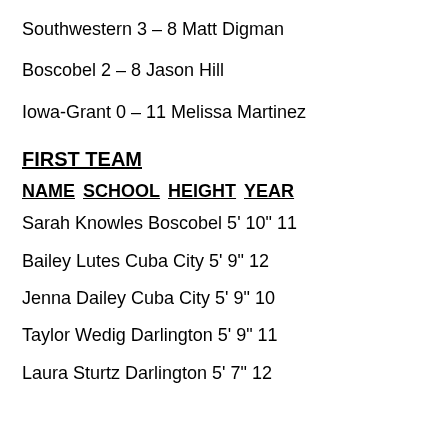Southwestern 3 – 8 Matt Digman
Boscobel 2 – 8 Jason Hill
Iowa-Grant 0 – 11 Melissa Martinez
FIRST TEAM
NAME SCHOOL HEIGHT YEAR
Sarah Knowles Boscobel 5' 10" 11
Bailey Lutes Cuba City 5' 9" 12
Jenna Dailey Cuba City 5' 9" 10
Taylor Wedig Darlington 5' 9" 11
Laura Sturtz Darlington 5' 7" 12